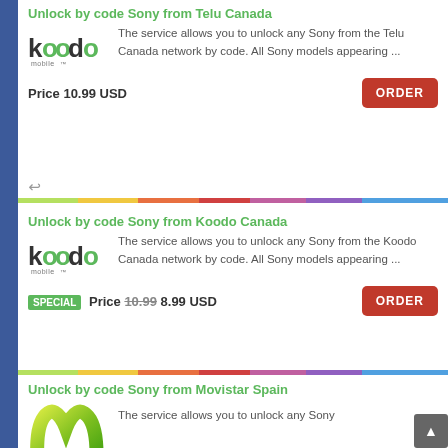Unlock by code Sony from Telu Canada
[Figure (logo): Koodo Mobile logo]
The service allows you to unlock any Sony from the Telu Canada network by code. All Sony models appearing ...
Price 10.99 USD
Unlock by code Sony from Koodo Canada
[Figure (logo): Koodo Mobile logo]
The service allows you to unlock any Sony from the Koodo Canada network by code. All Sony models appearing ...
SPECIAL Price 10.99 8.99 USD
Unlock by code Sony from Movistar Spain
[Figure (logo): Movistar logo - green M shape]
The service allows you to unlock any Sony